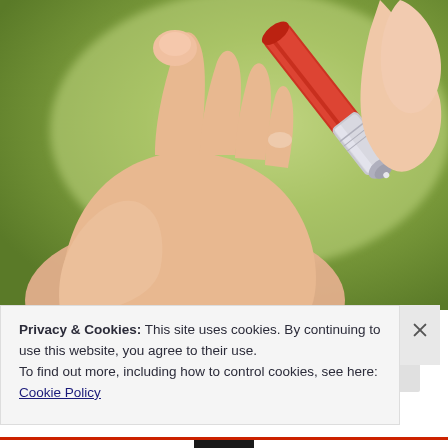[Figure (photo): Close-up photo of a hand (palm open) with a blood glucose lancing device (pen-shaped, silver and red) being pressed against a fingertip, set against a blurred green background.]
Privacy & Cookies: This site uses cookies. By continuing to use this website, you agree to their use.
To find out more, including how to control cookies, see here: Cookie Policy
Close and accept